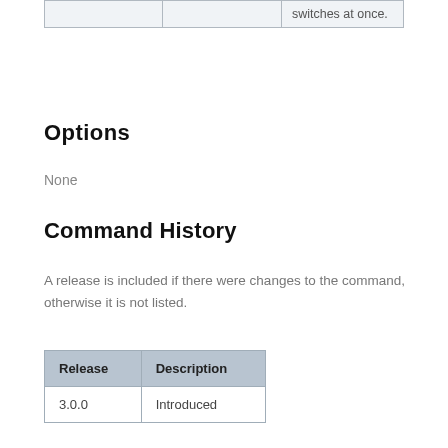|  |  |  |
| --- | --- | --- |
|  |  | switches at once. |
Options
None
Command History
A release is included if there were changes to the command, otherwise it is not listed.
| Release | Description |
| --- | --- |
| 3.0.0 | Introduced |